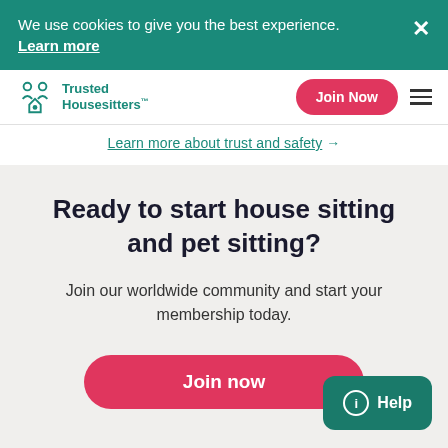We use cookies to give you the best experience. Learn more ×
Trusted Housesitters™   Join Now   ≡
Learn more about trust and safety →
Ready to start house sitting and pet sitting?
Join our worldwide community and start your membership today.
Join now
Help